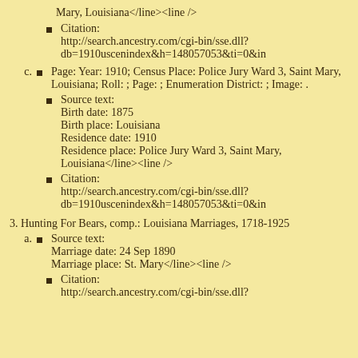Mary, Louisiana</line><line />
Citation: http://search.ancestry.com/cgi-bin/sse.dll?db=1910uscenindex&h=148057053&ti=0&in
c. Page: Year: 1910; Census Place: Police Jury Ward 3, Saint Mary, Louisiana; Roll: ; Page: ; Enumeration District: ; Image: .
Source text: Birth date: 1875 Birth place: Louisiana Residence date: 1910 Residence place: Police Jury Ward 3, Saint Mary, Louisiana</line><line />
Citation: http://search.ancestry.com/cgi-bin/sse.dll?db=1910uscenindex&h=148057053&ti=0&in
3. Hunting For Bears, comp.: Louisiana Marriages, 1718-1925
a. Source text: Marriage date: 24 Sep 1890 Marriage place: St. Mary</line><line />
Citation: http://search.ancestry.com/cgi-bin/sse.dll?